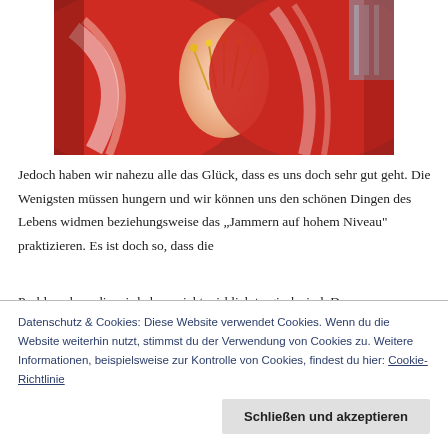[Figure (photo): Close-up photograph of a red and white amaryllis flower with prominent stamens and petals]
Jedoch haben wir nahezu alle das Glück, dass es uns doch sehr gut geht. Die Wenigsten müssen hungern und wir können uns den schönen Dingen des Lebens widmen beziehungsweise das „Jammern auf hohem Niveau" praktizieren. Es ist doch so, dass die Problemchen, die wir haben, nicht wirklich tragisch sind. Das
Datenschutz & Cookies: Diese Website verwendet Cookies. Wenn du die Website weiterhin nutzt, stimmst du der Verwendung von Cookies zu. Weitere Informationen, beispielsweise zur Kontrolle von Cookies, findest du hier: Cookie-Richtlinie